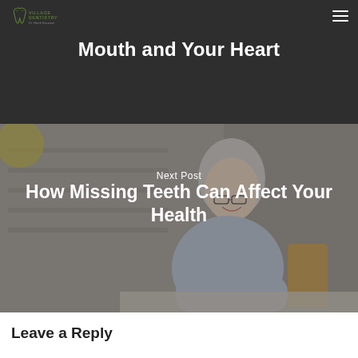Village Dentistry – Dr. Hesih Hazarian
Mouth and Your Heart
[Figure (photo): Elderly woman with short white hair and glasses, smiling and holding a glass of orange juice, sitting at a table with blurred bookshelf in background]
Next Post
How Missing Teeth Can Affect Your Health
Leave a Reply